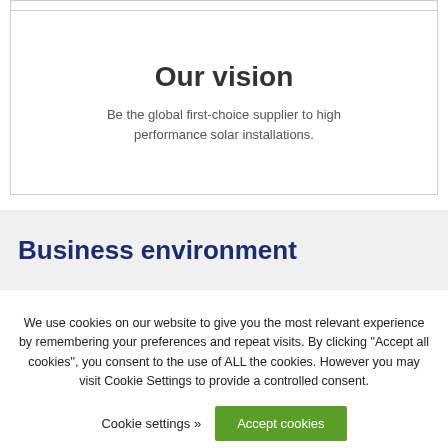Our vision
Be the global first-choice supplier to high performance solar installations.
Business environment
We use cookies on our website to give you the most relevant experience by remembering your preferences and repeat visits. By clicking “Accept all cookies”, you consent to the use of ALL the cookies. However you may visit Cookie Settings to provide a controlled consent.
Cookie settings »
Accept cookies